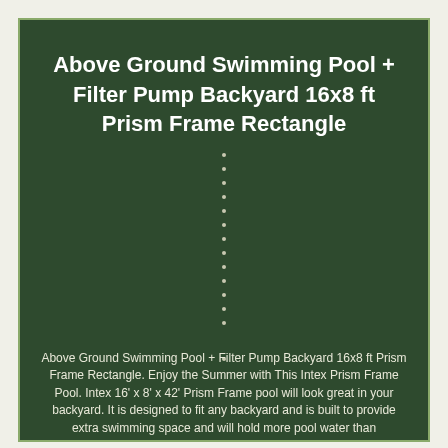Above Ground Swimming Pool + Filter Pump Backyard 16x8 ft Prism Frame Rectangle
Above Ground Swimming Pool + Filter Pump Backyard 16x8 ft Prism Frame Rectangle. Enjoy the Summer with This Intex Prism Frame Pool. Intex 16' x 8' x 42' Prism Frame pool will look great in your backyard. It is designed to fit any backyard and is built to provide extra swimming space and will hold more pool water than the traditional round frame pools, allowing the entire family to enjoy.